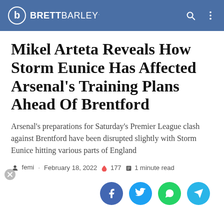BRETTBARLEY.
Mikel Arteta Reveals How Storm Eunice Has Affected Arsenal's Training Plans Ahead Of Brentford
Arsenal's preparations for Saturday's Premier League clash against Brentford have been disrupted slightly with Storm Eunice hitting various parts of England
femi · February 18, 2022 🔥 177 📖 1 minute read
[Figure (other): Social share buttons: Facebook, Twitter, WhatsApp, Telegram]